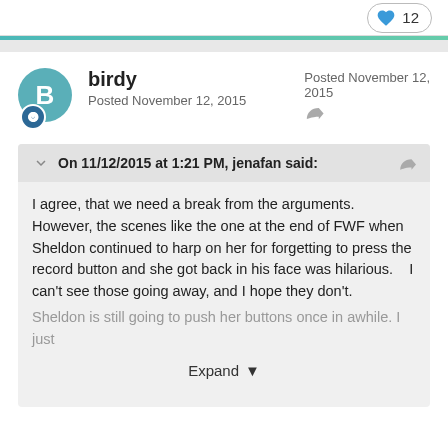♥ 12
birdy
Posted November 12, 2015
Posted November 12, 2015
On 11/12/2015 at 1:21 PM, jenafan said:
I agree, that we need a break from the arguments.   However, the scenes like the one at the end of FWF when Sheldon continued to harp on her for forgetting to press the record button and she got back in his face was hilarious.    I can't see those going away, and I hope they don't.
Sheldon is still going to push her buttons once in awhile. I just
Expand ▾